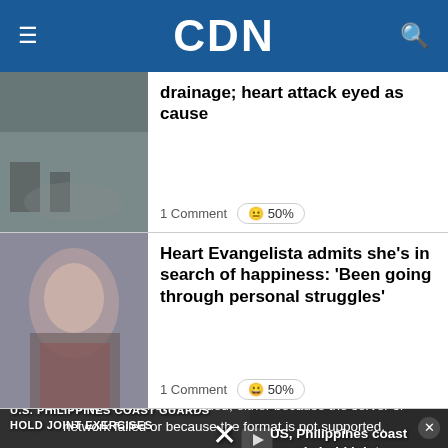CDN
drainage; heart attack eyed as cause
1 Comment 😐 50%
Heart Evangelista admits she's in search of happiness: 'Been going through personal struggles'
1 Comment 😊 50%
[Figure (screenshot): Video player with media error overlay and US Philippines coast guards title. Lower text: U.S. PHILIPPINES COAST GUARDS HOLD JOINT EXERCISES]
The media could not be loaded, either because the server or network failed or because the format is not supported.